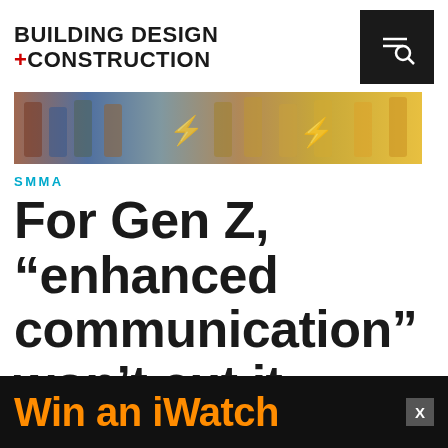BUILDING DESIGN +CONSTRUCTION
[Figure (photo): Group of young people standing against a wall looking at their smartphones, some with lightning bolt graphics on the wall behind them]
SMMA
For Gen Z, “enhanced communication” won’t cut it
As th[e next] gene[ration]...
[Figure (other): Advertisement overlay: Win an iWatch - black background with orange text, with X close button]